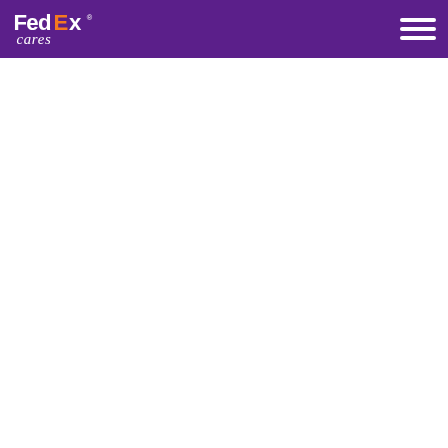FedEx Cares
[Figure (logo): FedEx Cares logo in white on purple header background, with hamburger menu icon on the right]